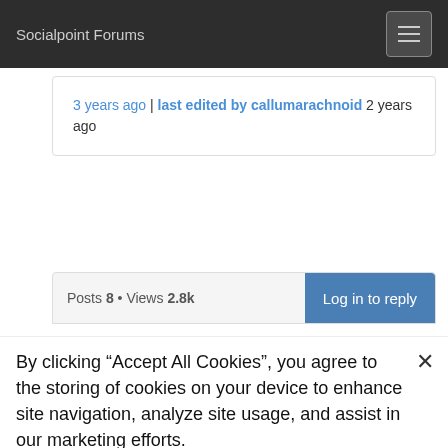Socialpoint Forums
3 years ago | last edited by callumarachnoid 2 years ago
Posts 8 • Views 2.8k
By clicking “Accept All Cookies”, you agree to the storing of cookies on your device to enhance site navigation, analyze site usage, and assist in our marketing efforts.
)) Cookies Settings
Accept All Cookies